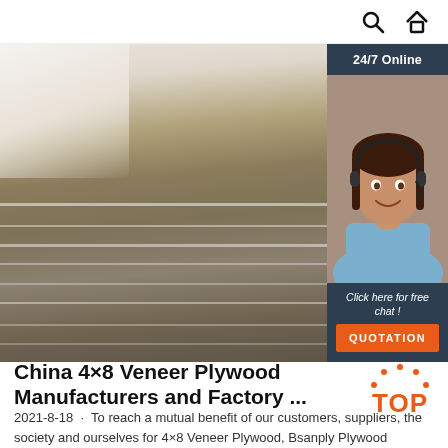search and home icons
[Figure (photo): Photo of plywood sheets stacked sideways showing layered edges, with a customer service agent widget on the right side featuring '24/7 Online' badge, agent photo with headset, 'Click here for free chat!' text, and an orange QUOTATION button]
China 4×8 Veneer Plywood Manufacturers and Factory ...
2021-8-18 · To reach a mutual benefit of our customers, suppliers, the society and ourselves for 4×8 Veneer Plywood, Bsanply Plywood Furniture, Baltic Birch Cabinets, Small